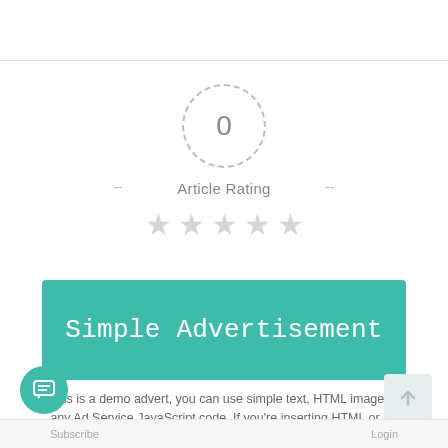[Figure (infographic): Article rating widget showing a dashed circle with '0' score, dashes on either side, 'Article Rating' label, and five empty grey stars below]
[Figure (infographic): Green advertisement banner with white text 'Simple Advertisement']
This is a demo advert, you can use simple text, HTML image or any Ad Service JavaScript code. If you're inserting HTML or JS code make sure editor is switched to 'Text' mode.
[Figure (other): Teal circular chat button with message icon in bottom-left corner]
[Figure (other): Light grey back-to-top arrow button in bottom-right corner]
Subscribe   Login